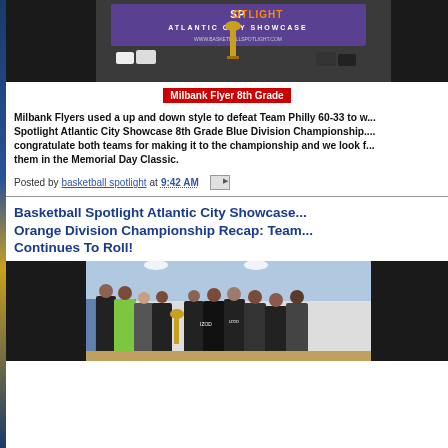[Figure (photo): Basketball team photo with trophy in front of Basketball Spotlight Atlantic City Showcase banner]
Milbank Flyer 8th Grade
Milbank Flyers used a up and down style to defeat Team Philly 60-33 to w... Spotlight Atlantic City Showcase 8th Grade Blue Division Championship. ...congratulate both teams for making it to the championship and we look f...them in the Memorial Day Classic.
Posted by basketball spotlight at 9:42 AM
Basketball Spotlight Atlantic City Showcase... Orange Division Championship Recap: Team...Continues To Roll!
[Figure (photo): Basketball team group photo indoors holding trophy, players wearing dark jerseys]